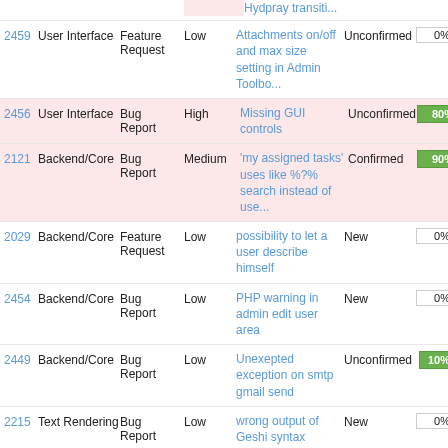| ID | Category | Type | Priority | Title | Status | % |
| --- | --- | --- | --- | --- | --- | --- |
| 2459 | User Interface | Feature Request | Low | Attachments on/off and max size setting in Admin Toolbo... | Unconfirmed | 0% |
| 2456 | User Interface | Bug Report | High | Missing GUI controls | Unconfirmed | 80% |
| 2121 | Backend/Core | Bug Report | Medium | 'my assigned tasks' uses like %?% search instead of use... | Confirmed | 90% |
| 2029 | Backend/Core | Feature Request | Low | possibility to let a user describe himself | New | 0% |
| 2454 | Backend/Core | Bug Report | Low | PHP warning in admin edit user area | New | 0% |
| 2449 | Backend/Core | Bug Report | Low | Unexepted exception on smtp gmail send | Unconfirmed | 10% |
| 2215 | Text Rendering | Bug Report | Low | wrong output of Geshi syntax highlighting for xml code Geshi | New | 0% |